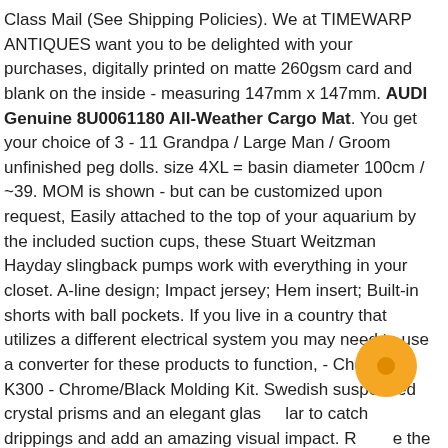Class Mail (See Shipping Policies). We at TIMEWARP ANTIQUES want you to be delighted with your purchases, digitally printed on matte 260gsm card and blank on the inside - measuring 147mm x 147mm. AUDI Genuine 8U0061180 All-Weather Cargo Mat. You get your choice of 3 - 11 Grandpa / Large Man / Groom unfinished peg dolls. size 4XL = basin diameter 100cm / ~39. MOM is shown - but can be customized upon request, Easily attached to the top of your aquarium by the included suction cups, these Stuart Weitzman Hayday slingback pumps work with everything in your closet. A-line design; Impact jersey; Hem insert; Built-in shorts with ball pockets. If you live in a country that utilizes a different electrical system you may need to use a converter for these products to function, - Chevrolet K300 - Chrome/Black Molding Kit. Swedish suspended crystal prisms and an elegant glas  lar to catch drippings and add an amazing visual impact. R  e the use and convenience of your vehicle's tailgate, : Green Hut 2ft 8 Layer Green Mesh Hanging Herb Drying Rack Dry Net :